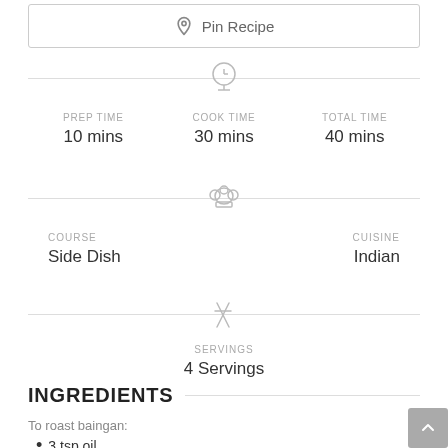Pin Recipe
PREP TIME 10 mins | COOK TIME 30 mins | TOTAL TIME 40 mins
COURSE Side Dish | CUISINE Indian
SERVINGS 4 Servings
INGREDIENTS
To roast baingan:
3 tsp oil
6 baingan / brinjal